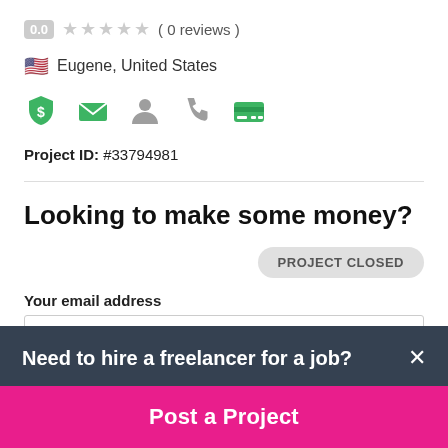0.0 ★★★★★ ( 0 reviews )
🇺🇸 Eugene, United States
[Figure (infographic): Five green icons: shield with dollar sign, envelope, person silhouette, phone, credit card]
Project ID: #33794981
Looking to make some money?
PROJECT CLOSED
Your email address
Need to hire a freelancer for a job?
Post a Project